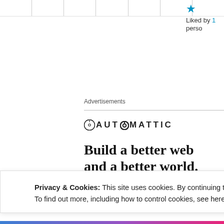Navigation bar with vertical dividers
Liked by 1 perso
Advertisements
[Figure (logo): Automattic logo with compass icon and uppercase spaced text]
Build a better web and a better world.
Apply
[Figure (photo): Circular cropped photo of a man with glasses wearing a beige shirt, thinking pose]
Privacy & Cookies: This site uses cookies. By continuing to use this website, you agree to their use.
To find out more, including how to control cookies, see here: Cookie Policy
Close and accept